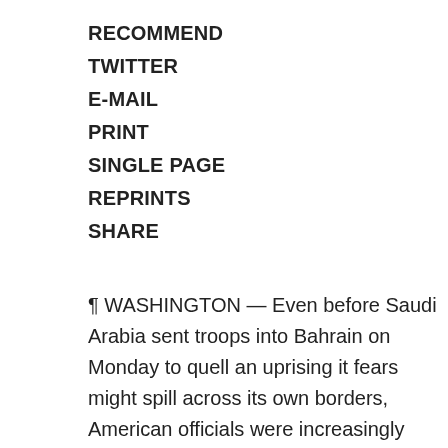RECOMMEND
TWITTER
E-MAIL
PRINT
SINGLE PAGE
REPRINTS
SHARE
¶ WASHINGTON — Even before Saudi Arabia sent troops into Bahrain on Monday to quell an uprising it fears might spill across its own borders, American officials were increasingly concerned that the kingdom's stability could ultimately be